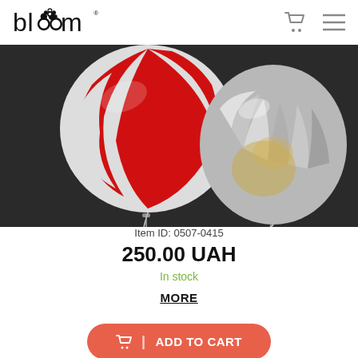bloom (logo)
[Figure (photo): Two foil balloons against a dark background: one red and white swirl lollipop-shaped balloon on the left, and one silver round balloon on the right]
Item ID: 0507-0415
250.00 UAH
In stock
MORE
ADD TO CART